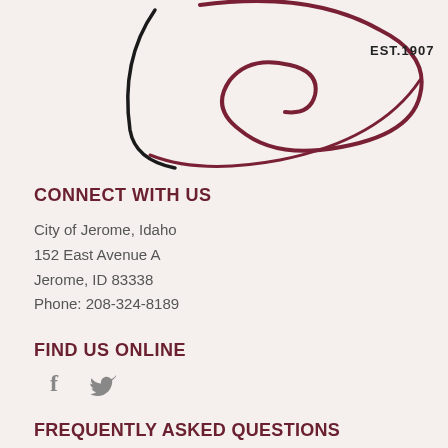[Figure (logo): City of Jerome Idaho logo - partial view showing cursive letter J with EST.1907 text and decorative swirl elements in black and dark red/maroon]
CONNECT WITH US
City of Jerome, Idaho
152 East Avenue A
Jerome, ID 83338
Phone: 208-324-8189
FIND US ONLINE
[Figure (infographic): Social media icons: Facebook (f) and Twitter (bird) in gray]
FREQUENTLY ASKED QUESTIONS
1. Can I pay my bills online?